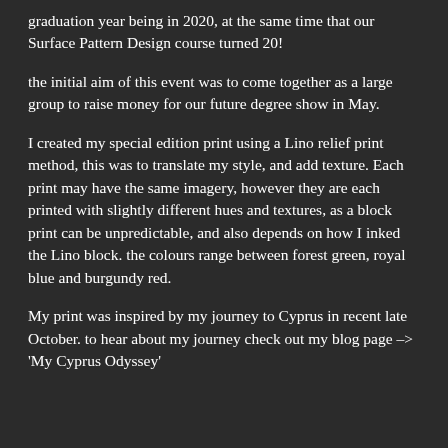graduation year being in 2020, at the same time that our Surface Pattern Design course turned 20!
the initial aim of this event was to come together as a large group to raise money for our future degree show in May.
I created my special edition print using a Lino relief print method, this was to translate my style, and add texture. Each print may have the same imagery, however they are each printed with slightly different hues and textures, as a block print can be unpredictable, and also depends on how I inked the Lino block. the colours range between forest green, royal blue and burgundy red.
My print was inspired by my journey to Cyprus in recent late  October. to hear about my journey check out my blog page –> 'My Cyprus Odyssey'